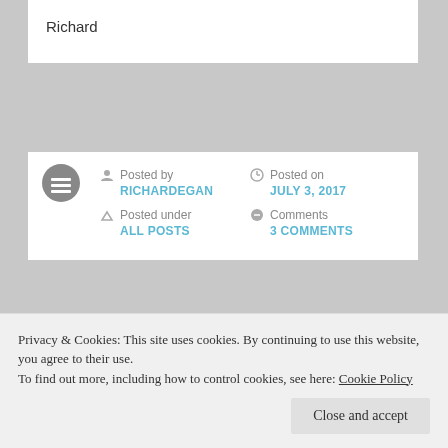Richard
Posted by RICHARDEGAN  Posted on JULY 3, 2017  Posted under ALL POSTS  Comments 3 COMMENTS
DUBLIN AND RAMADAN REFLECTION
Catholic retreat centre called the
Privacy & Cookies: This site uses cookies. By continuing to use this website, you agree to their use. To find out more, including how to control cookies, see here: Cookie Policy